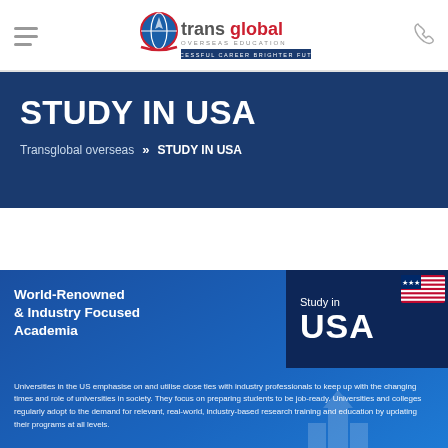Transglobal Overseas Education — navigation header with logo and hamburger menu
STUDY IN USA
Transglobal overseas » STUDY IN USA
[Figure (illustration): Study in USA promotional banner with globe logo, bold USA text, and American flag graphic]
World-Renowned & Industry Focused Academia
Universities in the US emphasise on and utilise close ties with industry professionals to keep up with the changing times and role of universities in society. They focus on preparing students to be job-ready. Universities and colleges regularly adopt to the demand for relevant, real-world, industry-based research training and education by updating their programs at all levels.